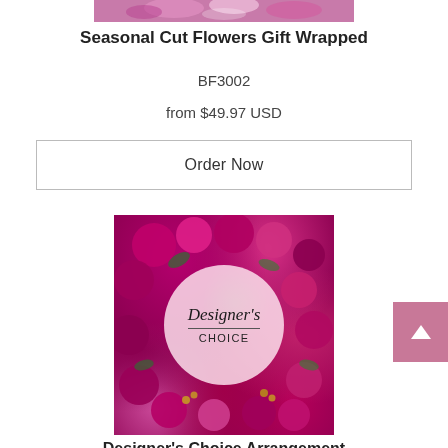[Figure (photo): Partial top of a flower bouquet image, cropped at the top]
Seasonal Cut Flowers Gift Wrapped
BF3002
from $49.97 USD
Order Now
[Figure (photo): Designer's Choice Arrangement – a dense arrangement of magenta, pink, and purple roses and flowers with a white semi-transparent circle overlay reading "Designer's CHOICE" in script and serif text]
Designer's Choice Arrangement